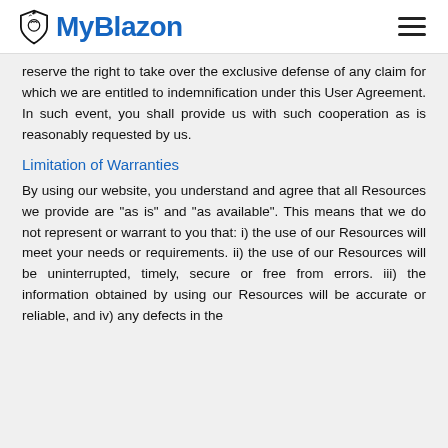MyBlazon
reserve the right to take over the exclusive defense of any claim for which we are entitled to indemnification under this User Agreement. In such event, you shall provide us with such cooperation as is reasonably requested by us.
Limitation of Warranties
By using our website, you understand and agree that all Resources we provide are "as is" and "as available". This means that we do not represent or warrant to you that: i) the use of our Resources will meet your needs or requirements. ii) the use of our Resources will be uninterrupted, timely, secure or free from errors. iii) the information obtained by using our Resources will be accurate or reliable, and iv) any defects in the